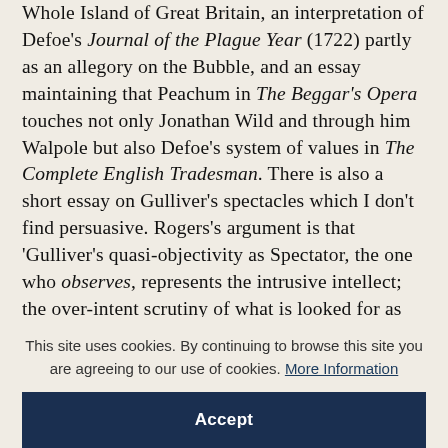Whole Island of Great Britain, an interpretation of Defoe's Journal of the Plague Year (1722) partly as an allegory on the Bubble, and an essay maintaining that Peachum in The Beggar's Opera touches not only Jonathan Wild and through him Walpole but also Defoe's system of values in The Complete English Tradesman. There is also a short essay on Gulliver's spectacles which I don't find persuasive. Rogers's argument is that 'Gulliver's quasi-objectivity as Spectator, the one who observes, represents the intrusive intellect; the over-intent scrutiny of what is looked for as principal becomes its own caricature'
This site uses cookies. By continuing to browse this site you are agreeing to our use of cookies. More Information
Accept